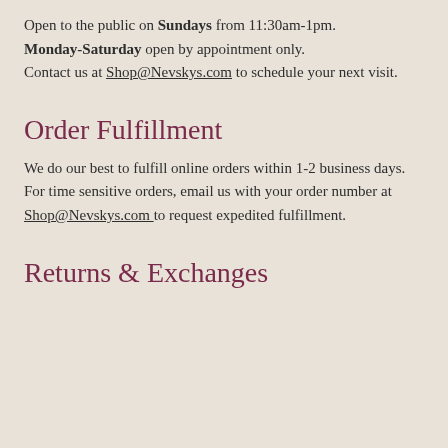Open to the public on Sundays from 11:30am-1pm. Monday-Saturday open by appointment only. Contact us at Shop@Nevskys.com to schedule your next visit.
Order Fulfillment
We do our best to fulfill online orders within 1-2 business days. For time sensitive orders, email us with your order number at Shop@Nevskys.com to request expedited fulfillment.
Returns & Exchanges